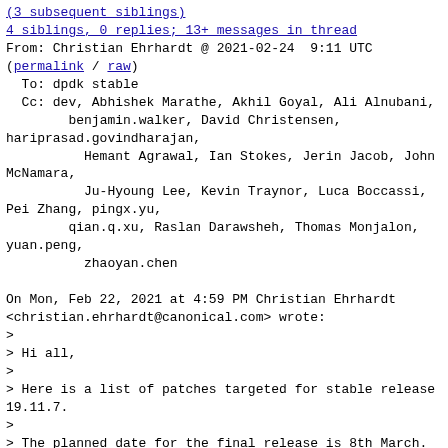(3 subsequent siblings)
4 siblings, 0 replies; 13+ messages in thread
From: Christian Ehrhardt @ 2021-02-24  9:11 UTC
(permalink / raw)
  To: dpdk stable
  Cc: dev, Abhishek Marathe, Akhil Goyal, Ali Alnubani,
        benjamin.walker, David Christensen,
hariprasad.govindharajan,
          Hemant Agrawal, Ian Stokes, Jerin Jacob, John McNamara,
          Ju-Hyoung Lee, Kevin Traynor, Luca Boccassi,
Pei Zhang, pingx.yu,
        qian.q.xu, Raslan Darawsheh, Thomas Monjalon,
yuan.peng,
          zhaoyan.chen

On Mon, Feb 22, 2021 at 4:59 PM Christian Ehrhardt
<christian.ehrhardt@canonical.com> wrote:
>
> Hi all,
>
> Here is a list of patches targeted for stable release
19.11.7.
>
> The planned date for the final release is 8th March.
>
> Please help with testing and validation of your use
cases and report
> any issues/results with reply-all to this mail. For
the final release
> the fixes and reported validations will be added to